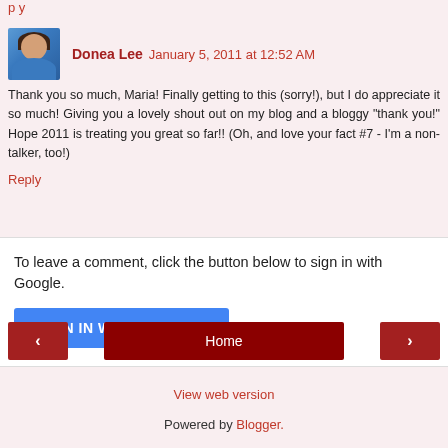p y
Donea Lee  January 5, 2011 at 12:52 AM
Thank you so much, Maria! Finally getting to this (sorry!), but I do appreciate it so much! Giving you a lovely shout out on my blog and a bloggy "thank you!" Hope 2011 is treating you great so far!! (Oh, and love your fact #7 - I'm a non-talker, too!)
Reply
To leave a comment, click the button below to sign in with Google.
SIGN IN WITH GOOGLE
‹
Home
›
View web version
Powered by Blogger.